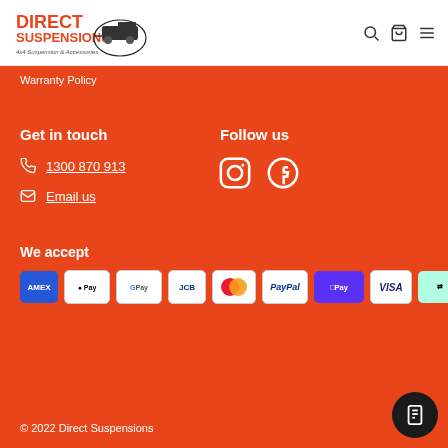[Figure (logo): Direct Suspensions logo - 4x4 Suspension & Accessories with truck image]
[Figure (infographic): Header navigation icons: search, cart, menu]
Warranty Policy
Get in touch
Follow us
1300 870 913
Email us
[Figure (infographic): Instagram and Facebook social media icons]
We accept
[Figure (infographic): Payment icons: Amex, Apple Pay, Google Pay, JCB, Mastercard, PayPal, Shop Pay, Visa, Afterpay]
© 2022 Direct Suspensions